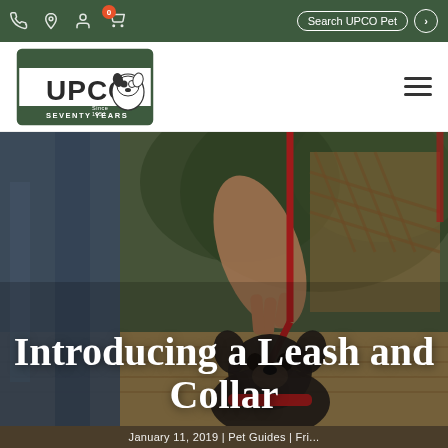UPCO Pet navigation bar with phone, location, account, cart icons and Search UPCO Pet search box
[Figure (logo): UPCO Seventy Years logo — cartoon French Bulldog inside a rectangular badge, text reads UPCO SEVENTY YEARS Since 1951]
[Figure (photo): Outdoor photo of a person holding a red leash connected to a small dark-colored dog wearing a red collar, standing on a wooden deck with greenery in the background]
Introducing a Leash and Collar
January 11, 2019 | Pet Guides | Fri...